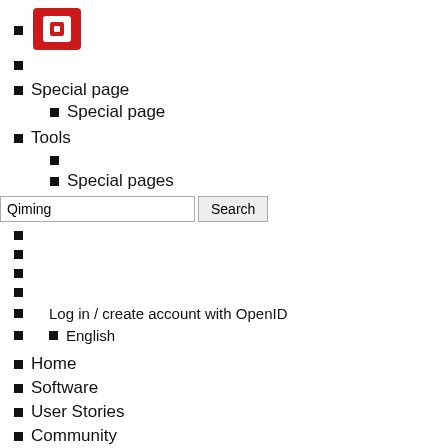[Figure (logo): OpenStack red logo square icon]
Special page
Special page (sub-item)
Tools
Special pages
Log in / create account with OpenID
English
Home
Software
User Stories
Community
Profile